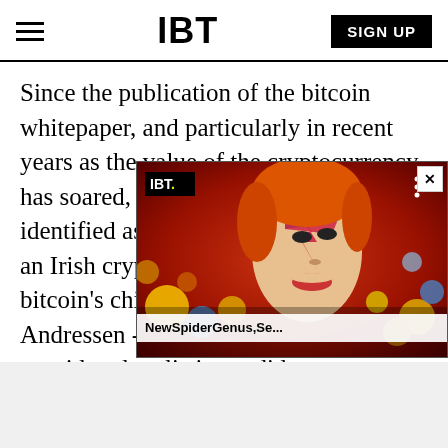IBT
Since the publication of the bitcoin whitepaper, and particularly in recent years as the value of the cryptocurrency has soared, numerous people have been identified as bitcoin's creator, including an Irish cryptography student and bitcoin's chief scientist, Gavin Andressen -- but only three were considered realistic candidates.
[Figure (screenshot): IBT video overlay showing a thumbnail with a David Bowie Aladdin Sane style face with colorful spheres in background, with IBT logo badge and title 'NewSpiderGenus,Se...' overlaid at bottom]